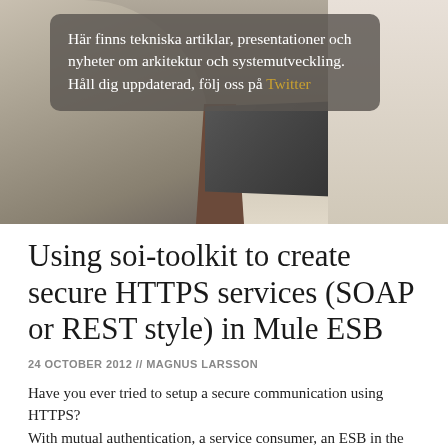[Figure (photo): Hero image of a woman working on a laptop, seated at a table with a barstool, with a dark overlay box containing Swedish text about technical articles, presentations, and news about architecture and system development, with a Twitter link.]
Här finns tekniska artiklar, presentationer och nyheter om arkitektur och systemutveckling. Håll dig uppdaterad, följ oss på Twitter
Using soi-toolkit to create secure HTTPS services (SOAP or REST style) in Mule ESB
24 OCTOBER 2012 // MAGNUS LARSSON
Have you ever tried to setup a secure communication using HTTPS?
With mutual authentication, a service consumer, an ESB in the middle, a service producer, and you have a few certificates to...